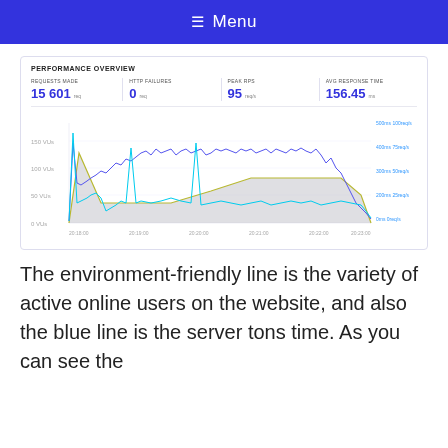≡ Menu
[Figure (continuous-plot): Performance overview dashboard showing a line chart with time on x-axis (20:18:00 to 20:23:00), VUs on left y-axis (0 to 150), and response time/RPS on right y-axis (0ms/0 req/s to 500ms/100 req/s). A green area chart shows VUs ramping up and down. A blue jagged line shows HTTP response times. A cyan line shows requests per second with spikes.]
The environment-friendly line is the variety of active online users on the website, and also the blue line is the server tons time. As you can see the